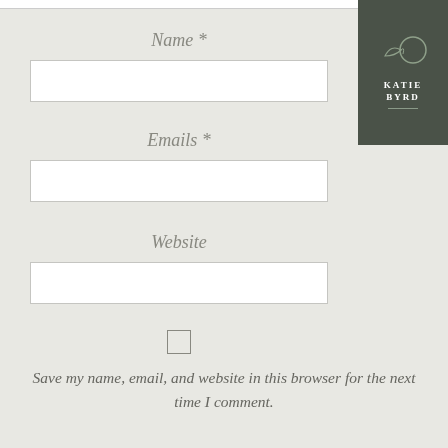[Figure (logo): Katie Byrd logo in dark green square, top right corner, with decorative bird/leaf icon, text KATIE BYRD, and two horizontal lines below]
Name *
Emails *
Website
Save my name, email, and website in this browser for the next time I comment.